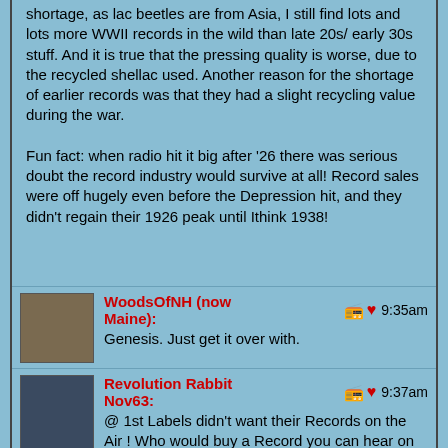shortage, as lac beetles are from Asia, I still find lots and lots more WWII records in the wild than late 20s/ early 30s stuff. And it is true that the pressing quality is worse, due to the recycled shellac used. Another reason for the shortage of earlier records was that they had a slight recycling value during the war.

Fun fact: when radio hit it big after '26 there was serious doubt the record industry would survive at all! Record sales were off hugely even before the Depression hit, and they didn't regain their 1926 peak until Ithink 1938!
WoodsOfNH (now Maine): Genesis. Just get it over with.
Revolution Rabbit Nov63: @ 1st Labels didn't want their Records on the Air ! Who would buy a Record you can hear on Radio ??...
Hughie Considine: The F-word...